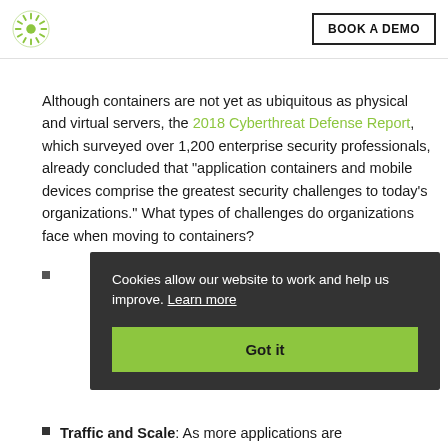BOOK A DEMO
Although containers are not yet as ubiquitous as physical and virtual servers, the 2018 Cyberthreat Defense Report, which surveyed over 1,200 enterprise security professionals, already concluded that "application containers and mobile devices comprise the greatest security challenges to today's organizations." What types of challenges do organizations face when moving to containers?
Cookies allow our website to work and help us improve. Learn more
Got it
Traffic and Scale: As more applications are